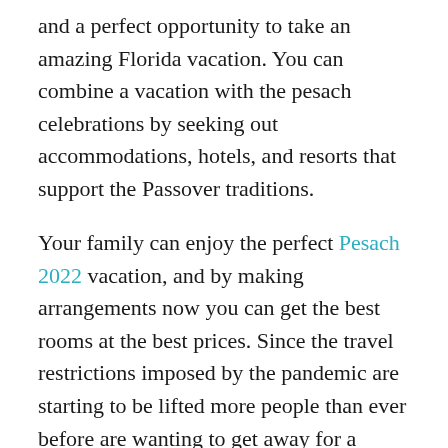and a perfect opportunity to take an amazing Florida vacation. You can combine a vacation with the pesach celebrations by seeking out accommodations, hotels, and resorts that support the Passover traditions.
Your family can enjoy the perfect Pesach 2022 vacation, and by making arrangements now you can get the best rooms at the best prices. Since the travel restrictions imposed by the pandemic are starting to be lifted more people than ever before are wanting to get away for a vacation. Booking now ensures that you have a flight, a great room, and dinner reservations in the best places for the Seder.